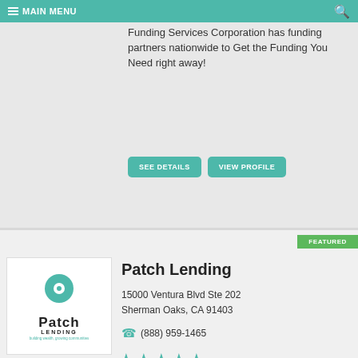MAIN MENU
Funding Services Corporation has funding partners nationwide to Get the Funding You Need right away!
SEE DETAILS | VIEW PROFILE
[Figure (logo): Patch Lending logo - teal location pin icon above bold text PATCH LENDING with tagline 'building wealth, growing communities']
Patch Lending
15000 Ventura Blvd Ste 202
Sherman Oaks, CA 91403
(888) 959-1465
★★★★★
SEE DETAILS | VIEW PROFILE
[Figure (logo): Global Capital Partners Fund LLC Direct Lending logo]
Global Capital Partners Fund
Click Here to Request Loan Info